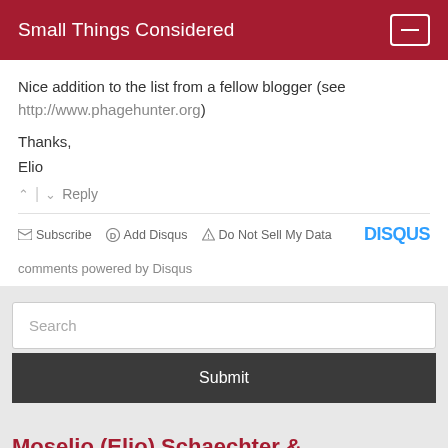Small Things Considered
Nice addition to the list from a fellow blogger (see http://www.phagehunter.org)
Thanks,
Elio
^ | v  Reply
Subscribe  Add Disqus  Do Not Sell My Data  DISQUS
comments powered by Disqus
Search
Submit
Moselio (Elio) Schaechter & Roberto Kolter